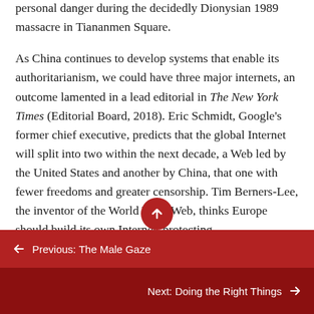personal danger during the decidedly Dionysian 1989 massacre in Tiananmen Square.
As China continues to develop systems that enable its authoritarianism, we could have three major internets, an outcome lamented in a lead editorial in The New York Times (Editorial Board, 2018). Eric Schmidt, Google's former chief executive, predicts that the global Internet will split into two within the next decade, a Web led by the United States and another by China, that one with fewer freedoms and greater censorship. Tim Berners-Lee, the inventor of the World Wide Web, thinks Europe should build its own Internet, protecting
← Previous: The Male Gaze
Next: Doing the Right Things →